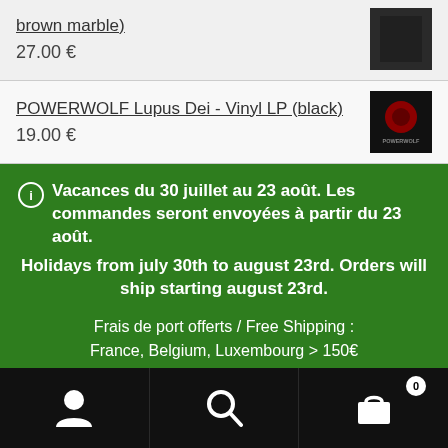brown marble)
27.00 €
POWERWOLF Lupus Dei - Vinyl LP (black)
19.00 €
Vacances du 30 juillet au 23 août. Les commandes seront envoyées à partir du 23 août. Holidays from july 30th to august 23rd. Orders will ship starting august 23rd.
Frais de port offerts / Free Shipping : France, Belgium, Luxembourg > 150€
Dismiss